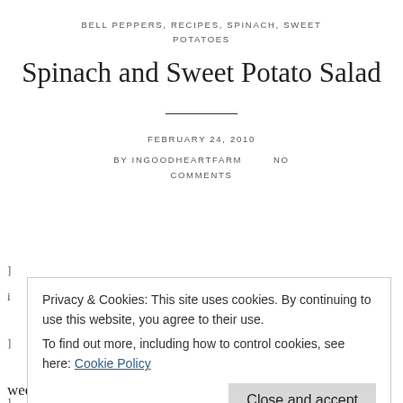BELL PEPPERS, RECIPES, SPINACH, SWEET POTATOES
Spinach and Sweet Potato Salad
FEBRUARY 24, 2010
BY INGOODHEARTFARM   NO COMMENTS
Privacy & Cookies: This site uses cookies. By continuing to use this website, you agree to their use. To find out more, including how to control cookies, see here: Cookie Policy
weekend.